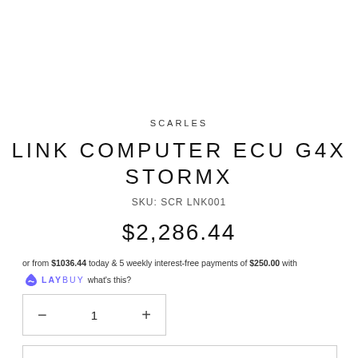SCARLES
LINK COMPUTER ECU G4X STORMX
SKU: SCR LNK001
$2,286.44
or from $1036.44 today & 5 weekly interest-free payments of $250.00 with LAYBUY what's this?
— 1 +